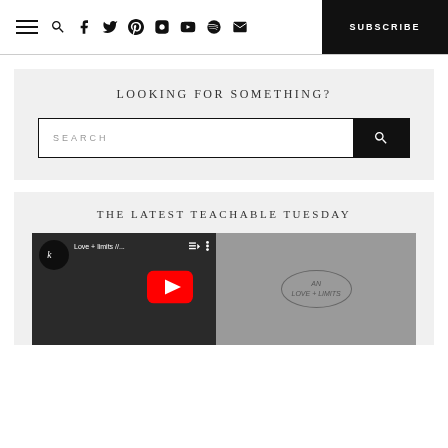Navigation header with hamburger menu, social icons (search, facebook, twitter, pinterest, instagram, youtube, spotify, email), and SUBSCRIBE button
LOOKING FOR SOMETHING?
[Figure (screenshot): Search bar with SEARCH placeholder text and a black search button with magnifying glass icon]
THE LATEST TEACHABLE TUESDAY
[Figure (screenshot): YouTube video thumbnail for 'Love + limits //...' video with play button, channel logo, and oval text overlay on right side]